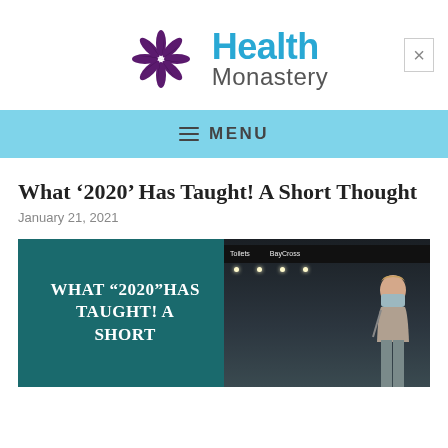[Figure (logo): Health Monastery logo with purple swirl icon and two-tone text in blue and grey]
≡ MENU
What ‘2020’ Has Taught! A Short Thought
January 21, 2021
[Figure (photo): Article header photo showing airport scene with a teal/dark sign reading WHAT ‘2020’ HAS TAUGHT! A SHORT and a masked woman in the background]